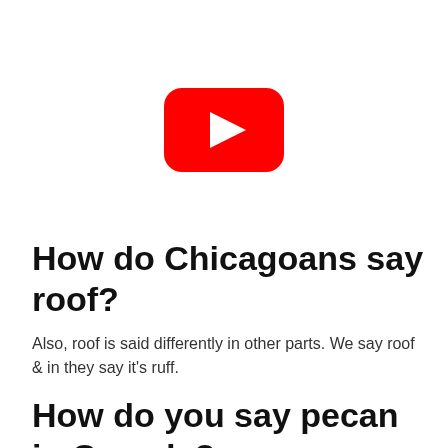[Figure (logo): YouTube logo — red rounded rectangle with white play triangle]
How do Chicagoans say roof?
Also, roof is said differently in other parts. We say roof & in they say it's ruff.
How do you say pecan in Canada?